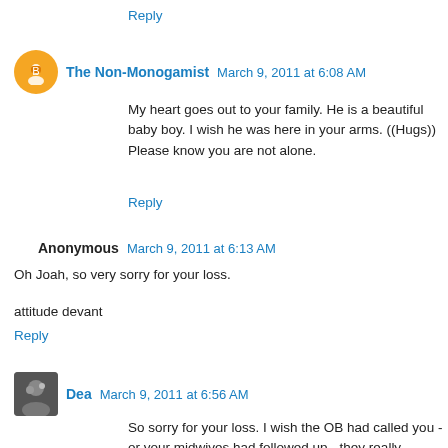Reply
The Non-Monogamist  March 9, 2011 at 6:08 AM
My heart goes out to your family. He is a beautiful baby boy. I wish he was here in your arms. ((Hugs)) Please know you are not alone.
Reply
Anonymous  March 9, 2011 at 6:13 AM
Oh Joah, so very sorry for your loss.

attitude devant
Reply
Dea  March 9, 2011 at 6:56 AM
So sorry for your loss. I wish the OB had called you - or your midwives had followed up - they really shouldn't have